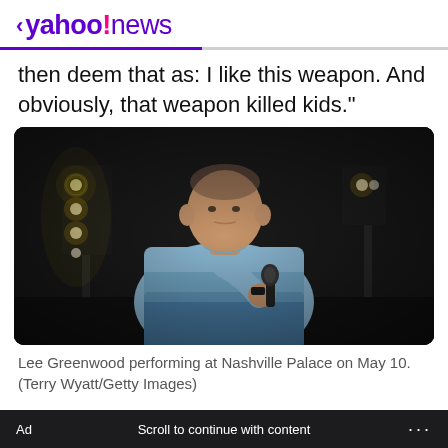< yahoo!news
then deem that as: I like this weapon. And obviously, that weapon killed kids."
[Figure (photo): Lee Greenwood performing at Nashville Palace on May 10, holding a microphone on stage with stage lights visible in background]
Lee Greenwood performing at Nashville Palace on May 10. (Terry Wyatt/Getty Images)
Ad    Scroll to continue with content    ...